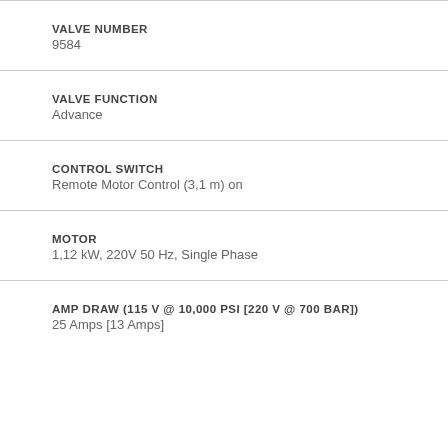VALVE NUMBER
9584
VALVE FUNCTION
Advance
CONTROL SWITCH
Remote Motor Control (3,1 m) on
MOTOR
1,12 kW, 220V 50 Hz, Single Phase
AMP DRAW (115 V @ 10,000 PSI [220 V @ 700 BAR])
25 Amps [13 Amps]